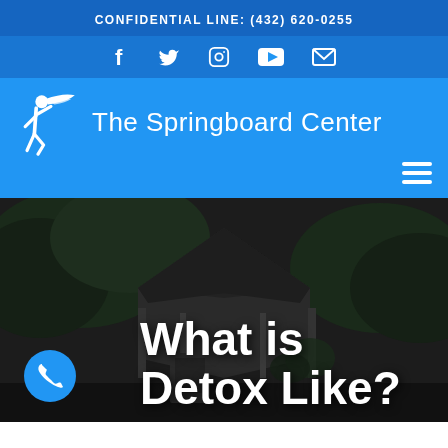CONFIDENTIAL LINE: (432) 620-0255
[Figure (infographic): Social media icons: Facebook, Twitter, Instagram, YouTube, Email in white on blue background]
[Figure (logo): The Springboard Center logo with white figure and text on blue background]
[Figure (photo): Nighttime photo of a gazebo with dark roof, trees in background, hero image for the page]
What is Detox Like?